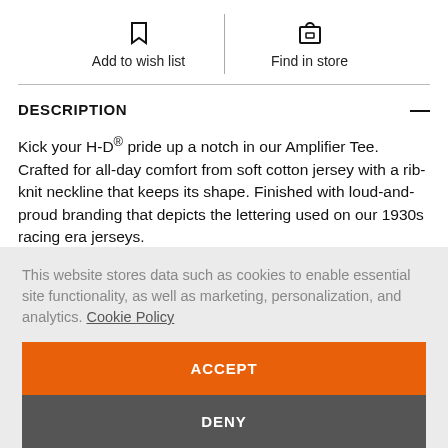Add to wish list
Find in store
DESCRIPTION
Kick your H-D® pride up a notch in our Amplifier Tee. Crafted for all-day comfort from soft cotton jersey with a rib-knit neckline that keeps its shape. Finished with loud-and-proud branding that depicts the lettering used on our 1930s racing era jerseys.
This website stores data such as cookies to enable essential site functionality, as well as marketing, personalization, and analytics. Cookie Policy
ACCEPT
DENY